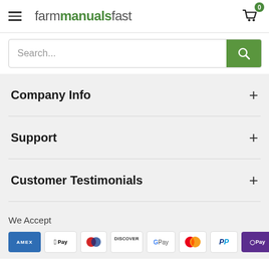farm manuals fast
Search...
Company Info
Support
Customer Testimonials
We Accept
AMEX, Apple Pay, Diners Club, Discover, Google Pay, Mastercard, PayPal, OPay, Venmo